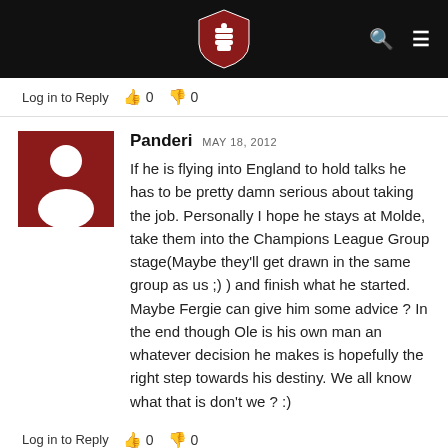[Figure (logo): Website navigation bar with dark background, center logo (shield with fist), search icon and hamburger menu on right]
Log in to Reply   👍 0   👎 0
Panderi  MAY 18, 2012
If he is flying into England to hold talks he has to be pretty damn serious about taking the job. Personally I hope he stays at Molde, take them into the Champions League Group stage(Maybe they'll get drawn in the same group as us ;) ) and finish what he started. Maybe Fergie can give him some advice ? In the end though Ole is his own man an whatever decision he makes is hopefully the right step towards his destiny. We all know what that is don't we ? :)
Log in to Reply   👍 0   👎 0